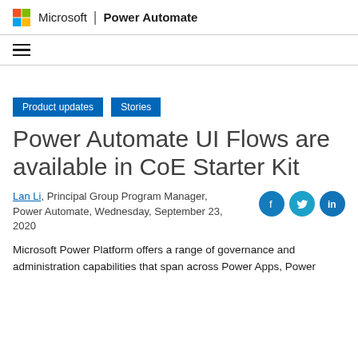Microsoft | Power Automate
[Figure (logo): Microsoft four-color logo with hamburger menu navigation]
Product updates
Stories
Power Automate UI Flows are available in CoE Starter Kit
Lan Li, Principal Group Program Manager, Power Automate, Wednesday, September 23, 2020
Microsoft Power Platform offers a range of governance and administration capabilities that span across Power Apps, Power...